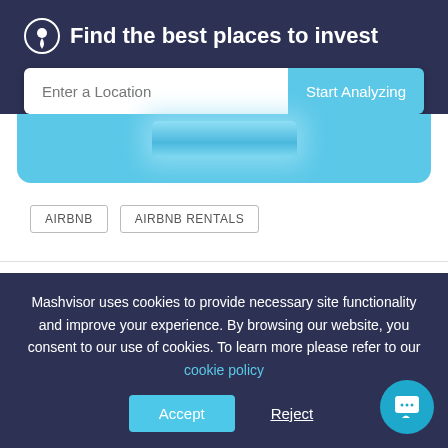Find the best places to invest
Enter a Location
Start Analyzing
AIRBNB
AIRBNB RENTALS
0
Mashvisor uses cookies to provide necessary site functionality and improve your experience. By browsing our website, you consent to our use of cookies. To learn more please refer to our cookie policy
Accept
Reject